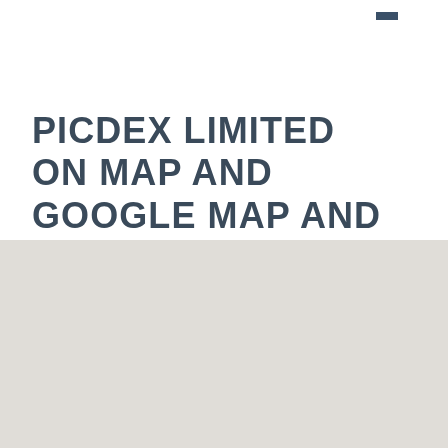PICDEX LIMITED ON MAP AND GOOGLE MAP AND STREET VIEW
[Figure (map): A light grey map area (Google Map placeholder) showing a blank/loading map tile in light greyish-beige tones, occupying the lower half of the page.]